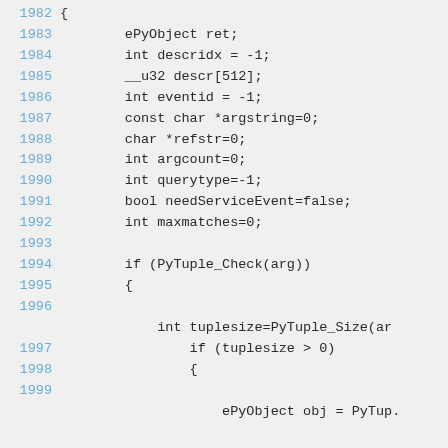1982 {
1983     ePyObject ret;
1984     int descridx = -1;
1985     __u32 descr[512];
1986     int eventid = -1;
1987     const char *argstring=0;
1988     char *refstr=0;
1989     int argcount=0;
1990     int querytype=-1;
1991     bool needServiceEvent=false;
1992     int maxmatches=0;
1993 
1994     if (PyTuple_Check(arg))
1995     {
1996 
         int tuplesize=PyTuple_Size(ar
1997             if (tuplesize > 0)
1998             {
1999 
                 ePyObject obj = PyTup.